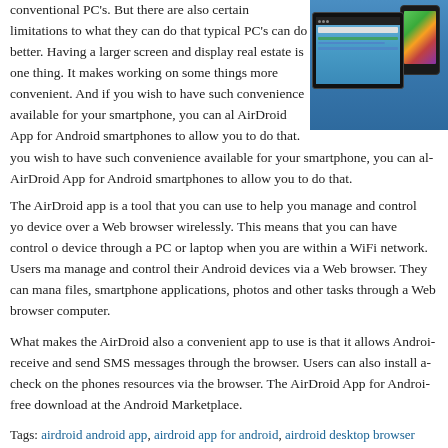conventional PC's. But there are also certain limitations to what they can do that typical PC's can do better. Having a larger screen and display real estate is one thing. It makes working on some things more convenient. And if you wish to have such convenience available for your smartphone, you can also use the AirDroid App for Android smartphones to allow you to do that.
[Figure (screenshot): Screenshot showing an Android smartphone and tablet displaying the AirDroid interface with app icons and a desktop browser view]
The AirDroid app is a tool that you can use to help you manage and control your device over a Web browser wirelessly. This means that you can have control of the device through a PC or laptop when you are within a WiFi network. Users may manage and control their Android devices via a Web browser. They can manage files, smartphone applications, photos and other tasks through a Web browser on a computer.
What makes the AirDroid also a convenient app to use is that it allows Android to receive and send SMS messages through the browser. Users can also install apps or check on the phones resources via the browser. The AirDroid App for Android is a free download at the Android Marketplace.
Tags: airdroid android app, airdroid app for android, airdroid desktop browser